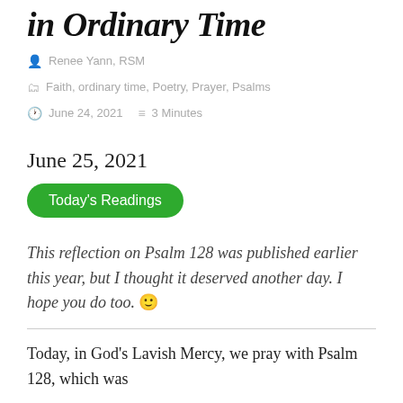in Ordinary Time
Renee Yann, RSM
Faith, ordinary time, Poetry, Prayer, Psalms
June 24, 2021   3 Minutes
June 25, 2021
Today's Readings
This reflection on Psalm 128 was published earlier this year, but I thought it deserved another day. I hope you do too. 🙂
Today, in God's Lavish Mercy, we pray with Psalm 128, which was...